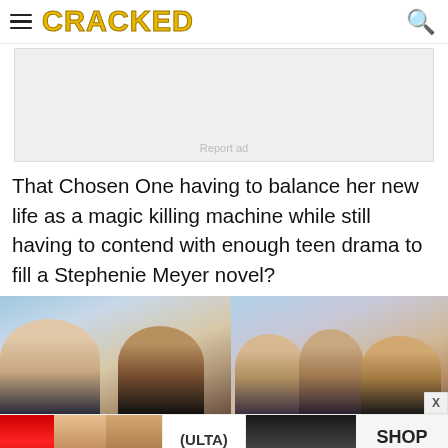CRACKED
[Figure (other): Advertisement placeholder with 'Report ad' text on grey background]
That Chosen One having to balance her new life as a magic killing machine while still having to contend with enough teen drama to fill a Stephenie Meyer novel?
[Figure (photo): Two side-by-side movie stills: left shows a girl and boy outdoors under blue sky; right shows a group of teens near a fountain]
[Figure (photo): Ulta Beauty advertisement banner at the bottom showing makeup products and 'SHOP NOW' button]